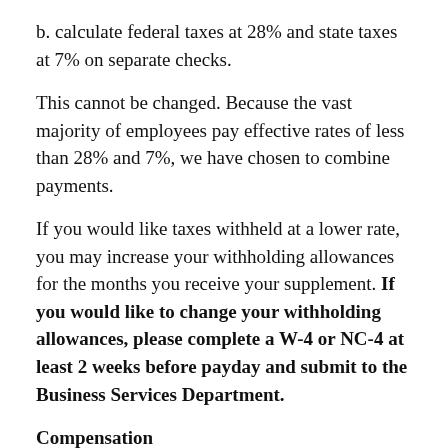b. calculate federal taxes at 28% and state taxes at 7% on separate checks.
This cannot be changed. Because the vast majority of employees pay effective rates of less than 28% and 7%, we have chosen to combine payments.
If you would like taxes withheld at a lower rate, you may increase your withholding allowances for the months you receive your supplement. If you would like to change your withholding allowances, please complete a W-4 or NC-4 at least 2 weeks before payday and submit to the Business Services Department.
Compensation
Salary